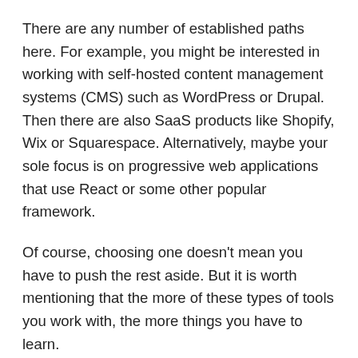There are any number of established paths here. For example, you might be interested in working with self-hosted content management systems (CMS) such as WordPress or Drupal. Then there are also SaaS products like Shopify, Wix or Squarespace. Alternatively, maybe your sole focus is on progressive web applications that use React or some other popular framework.
Of course, choosing one doesn't mean you have to push the rest aside. But it is worth mentioning that the more of these types of tools you work with, the more things you have to learn.
To become really well-versed in a platform means that you'll have to spend time with it, discovering all the different intricacies. There are only so many hours in the day to do that, so finding focus here is vital.
If you have previous experience and happen to like a